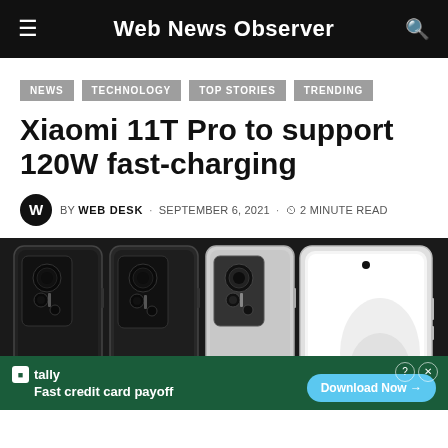Web News Observer
NEWS
TECHNOLOGY
TOP STORIES
TRENDING
Xiaomi 11T Pro to support 120W fast-charging
BY WEB DESK · SEPTEMBER 6, 2021 · 2 MINUTE READ
[Figure (photo): Four Xiaomi 11T Pro smartphones shown from front and back angles, black/white colorways, showing triple camera system on rear]
tally Fast credit card payoff Download Now →